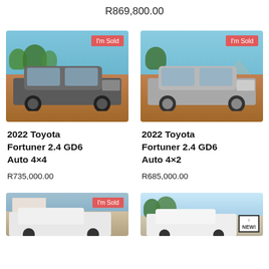R869,800.00
[Figure (photo): 2022 Toyota Fortuner 2.4 GD6 Auto 4x4 grey SUV with 'I'm Sold' badge]
[Figure (photo): 2022 Toyota Fortuner 2.4 GD6 Auto 4x2 silver SUV with 'I'm Sold' badge]
2022 Toyota Fortuner 2.4 GD6 Auto 4×4
R735,000.00
2022 Toyota Fortuner 2.4 GD6 Auto 4×2
R685,000.00
[Figure (photo): White SUV vehicle with 'I'm Sold' badge, partially visible at bottom]
[Figure (photo): White vehicle partially visible at bottom with 'NEW!' badge]